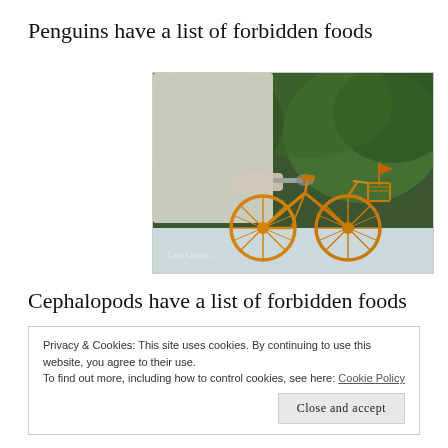Penguins have a list of forbidden foods
[Figure (photo): A photograph showing a decorative golden bicycle sculpture on a white surface, with a person in white clothing partially visible in the background surrounded by green foliage. A watermark reads 'Casa Cucina...' at the bottom left.]
Cephalopods have a list of forbidden foods
Privacy & Cookies: This site uses cookies. By continuing to use this website, you agree to their use.
To find out more, including how to control cookies, see here: Cookie Policy
Close and accept